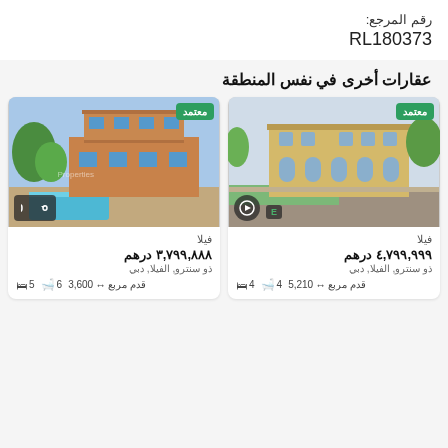رقم المرجع:
RL180373
عقارات أخرى في نفس المنطقة
[Figure (photo): Villa exterior photo with swimming pool, two-story building with balcony, green trees, sunny day. Badge: معتمد (verified). 360 badge at bottom left.]
فيلا
٣,٧٩٩,٨٨٨ درهم
ذو سنترو, الفيلا, دبي
5 beds · 6 baths · 3,600 sqft
[Figure (photo): Villa exterior photo, large yellow/beige villa with arched windows, lawn in front, sunny day. Badge: معتمد (verified). Play button at bottom left.]
فيلا
٤,٧٩٩,٩٩٩ درهم
ذو سنترو, الفيلا, دبي
4 beds · 4 baths · 5,210 sqft